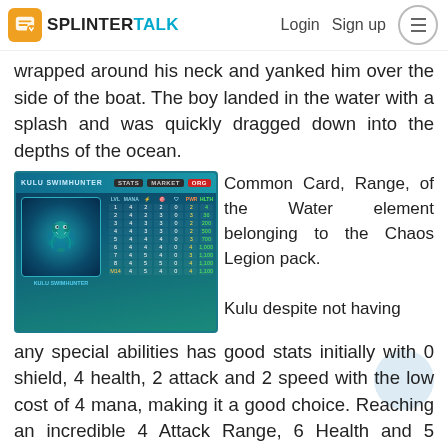SPLINTER TALK — Login  Sign up
wrapped around his neck and yanked him over the side of the boat. The boy landed in the water with a splash and was quickly dragged down into the depths of the ocean.
[Figure (screenshot): Game card screenshot showing KULU SWIMHUNTER stats table with multiple level rows]
Common Card, Range, of the Water element belonging to the Chaos Legion pack.
Kulu despite not having any special abilities has good stats initially with 0 shield, 4 health, 2 attack and 2 speed with the low cost of 4 mana, making it a good choice. Reaching an incredible 4 Attack Range, 6 Health and 5 Speed at Max level